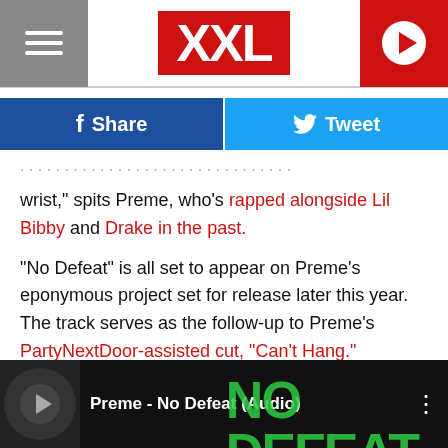XXL
Share | Tweet
wrist," spits Preme, who's rapped alongside Lil Bibby and Drake in the past.
"No Defeat" is all set to appear on Preme's eponymous project set for release later this year. The track serves as the follow-up to Preme's PartyNextDoor-assisted cut, "Can't Hang."
Check out "No Defeat" for yourself below.
[Figure (screenshot): YouTube/media player embed showing Preme - No Defeat (Audio) with green NO DEFEAT text on dark background]